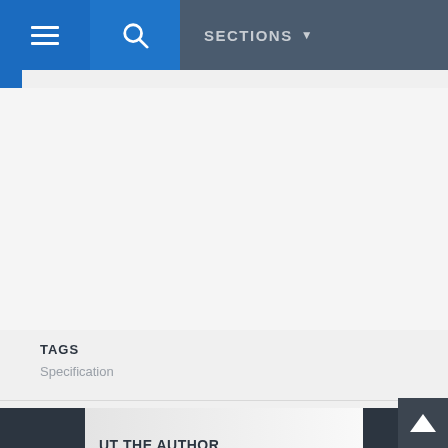SECTIONS
TAGS
Specification
ABOUT THE AUTHOR